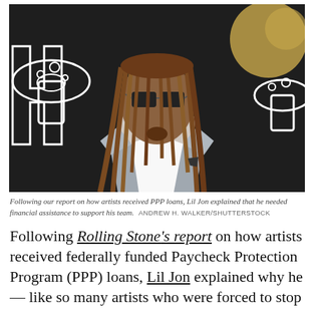[Figure (photo): Man with long dreadlocks wearing sunglasses and a grey blazer over a white shirt, standing in front of a dark background with white illustrated mushroom/abstract art. The person is Lil Jon.]
Following our report on how artists received PPP loans, Lil Jon explained that he needed financial assistance to support his team.  ANDREW H. WALKER/SHUTTERSTOCK
Following Rolling Stone's report on how artists received federally funded Paycheck Protection Program (PPP) loans, Lil Jon explained why he — like so many artists who were forced to stop